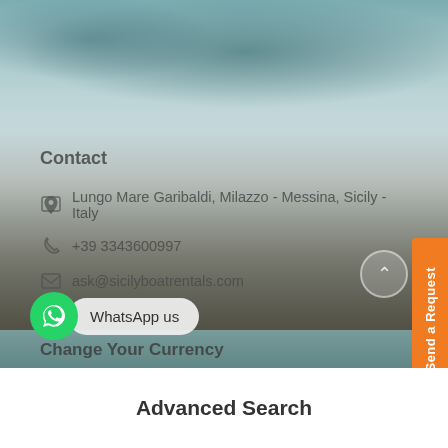[Figure (photo): Background photo of rocky seashore with blurred teal/grey water and sky, with pebbles/rocks visible in the lower portion]
Contact
Lungo Mare Garibaldi, Milazzo - Messina, Sicily - Italy
+39 3343600997
ask@sicilyboatrentals.com
Sicily Boat Rentals
Change Your Currency
€
English
Send a Request
WhatsApp us
Advanced Search